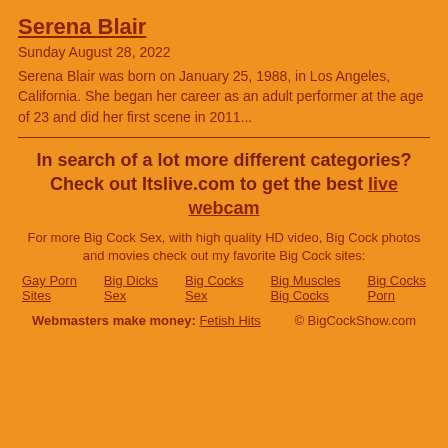Serena Blair
Sunday August 28, 2022
Serena Blair was born on January 25, 1988, in Los Angeles, California. She began her career as an adult performer at the age of 23 and did her first scene in 2011...
In search of a lot more different categories? Check out Itslive.com to get the best live webcam
For more Big Cock Sex, with high quality HD video, Big Cock photos and movies check out my favorite Big Cock sites:
Gay Porn Sites
Big Dicks Sex
Big Cocks Sex
Big Muscles Big Cocks
Big Cocks Porn
Webmasters make money: Fetish Hits   © BigCockShow.com